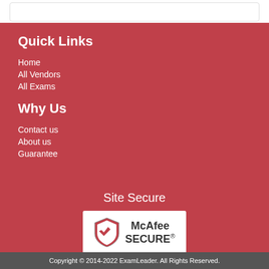Quick Links
Home
All Vendors
All Exams
Why Us
Contact us
About us
Guarantee
Site Secure
[Figure (logo): McAfee SECURE logo badge with shield icon, white background]
TESTED 20 Aug 2022
Copyright © 2014-2022 ExamLeader. All Rights Reserved.